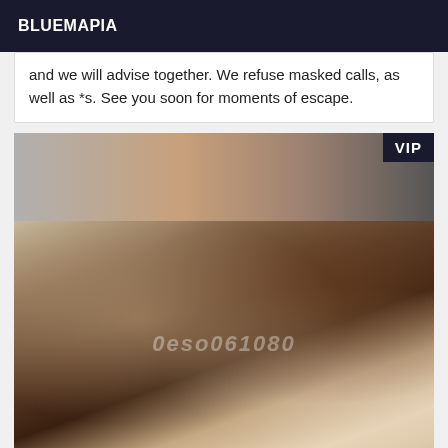BLUEMAPIA
and we will advise together. We refuse masked calls, as well as *s. See you soon for moments of escape.
[Figure (photo): Photo of a person posing on a white rug with stuffed animals in the background, with a VIP badge overlay and watermark text reading 0eso061080]